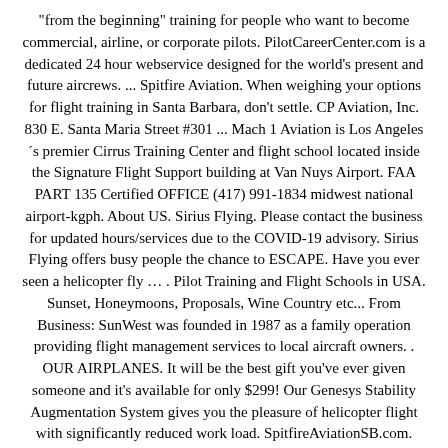"from the beginning" training for people who want to become commercial, airline, or corporate pilots. PilotCareerCenter.com is a dedicated 24 hour webservice designed for the world's present and future aircrews. ... Spitfire Aviation. When weighing your options for flight training in Santa Barbara, don't settle. CP Aviation, Inc. 830 E. Santa Maria Street #301 ... Mach 1 Aviation is Los Angeles ´s premier Cirrus Training Center and flight school located inside the Signature Flight Support building at Van Nuys Airport. FAA PART 135 Certified OFFICE (417) 991-1834 midwest national airport-kgph. About US. Sirius Flying. Please contact the business for updated hours/services due to the COVID-19 advisory. Sirius Flying offers busy people the chance to ESCAPE. Have you ever seen a helicopter fly … . Pilot Training and Flight Schools in USA. Sunset, Honeymoons, Proposals, Wine Country etc... From Business: SunWest was founded in 1987 as a family operation providing flight management services to local aircraft owners. . OUR AIRPLANES. It will be the best gift you've ever given someone and it's available for only $299! Our Genesys Stability Augmentation System gives you the pleasure of helicopter flight with significantly reduced work load. SpitfireAviationSB.com. Lompoc Flight Service is located at Lompoc Airport, in Lompoc, California. Santa Barbara . The Santa Barbara County Sheriff/Fire Air Support Unit (ASU) is a public safety aviation unit comprised of Santa Barbara Sheriff's Office and Santa Barbara County Fire Department employees. … With our Professional pilots and new